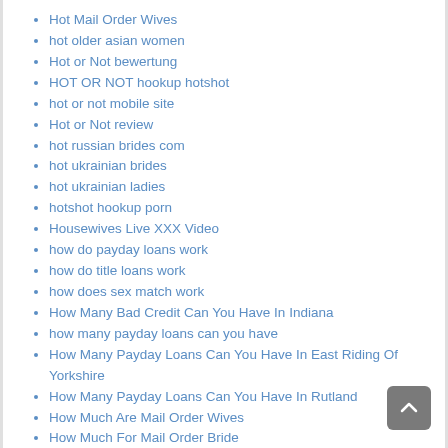Hot Mail Order Wives
hot older asian women
Hot or Not bewertung
HOT OR NOT hookup hotshot
hot or not mobile site
Hot or Not review
hot russian brides com
hot ukrainian brides
hot ukrainian ladies
hotshot hookup porn
Housewives Live XXX Video
how do payday loans work
how do title loans work
how does sex match work
How Many Bad Credit Can You Have In Indiana
how many payday loans can you have
How Many Payday Loans Can You Have In East Riding Of Yorkshire
How Many Payday Loans Can You Have In Rutland
How Much Are Mail Order Wives
How Much For Mail Order Bride